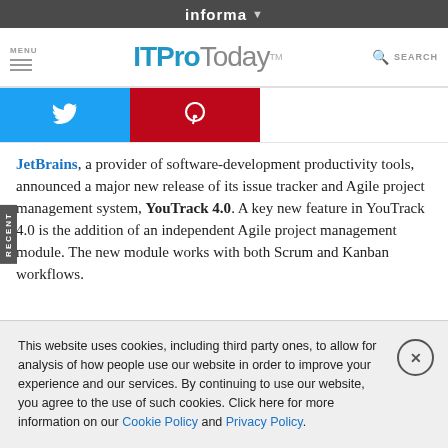informa
MENU  ITProToday  SEARCH
[Figure (screenshot): Social sharing buttons: Twitter (blue) and Pinterest (red)]
JetBrains, a provider of software-development productivity tools, announced a major new release of its issue tracker and Agile project management system, YouTrack 4.0. A key new feature in YouTrack 4.0 is the addition of an independent Agile project management module. The new module works with both Scrum and Kanban workflows.
This website uses cookies, including third party ones, to allow for analysis of how people use our website in order to improve your experience and our services. By continuing to use our website, you agree to the use of such cookies. Click here for more information on our Cookie Policy and Privacy Policy.